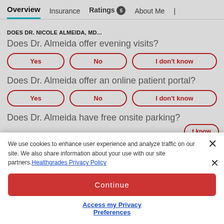Overview | Insurance | Ratings 6 | About Me
DOES DR. NICOLE ALMEIDA, MD...
Does Dr. Almeida offer evening visits?
Yes | No | I don't know
Does Dr. Almeida offer an online patient portal?
Yes | No | I don't know
Does Dr. Almeida have free onsite parking?
We use cookies to enhance user experience and analyze traffic on our site. We also share information about your use with our site partners. Healthgrades Privacy Policy
Continue
Access my Privacy Preferences